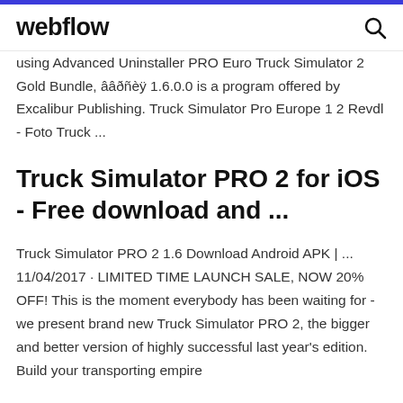webflow
using Advanced Uninstaller PRO Euro Truck Simulator 2 Gold Bundle, ââðñèÿ 1.6.0.0 is a program offered by Excalibur Publishing. Truck Simulator Pro Europe 1 2 Revdl - Foto Truck ...
Truck Simulator PRO 2 for iOS - Free download and ...
Truck Simulator PRO 2 1.6 Download Android APK | ... 11/04/2017 · LIMITED TIME LAUNCH SALE, NOW 20% OFF! This is the moment everybody has been waiting for - we present brand new Truck Simulator PRO 2, the bigger and better version of highly successful last year's edition. Build your transporting empire